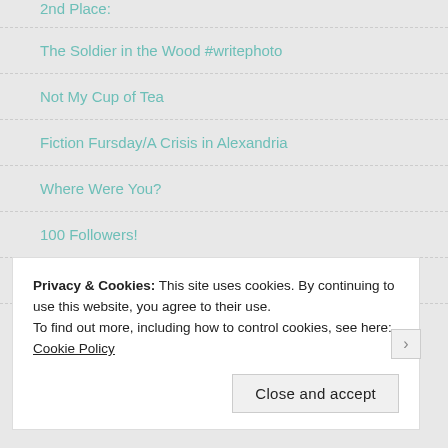2nd Place:
The Soldier in the Wood #writephoto
Not My Cup of Tea
Fiction Fursday/A Crisis in Alexandria
Where Were You?
100 Followers!
The Triumphant Return! Update on blog and plans.
Privacy & Cookies: This site uses cookies. By continuing to use this website, you agree to their use.
To find out more, including how to control cookies, see here: Cookie Policy
Close and accept